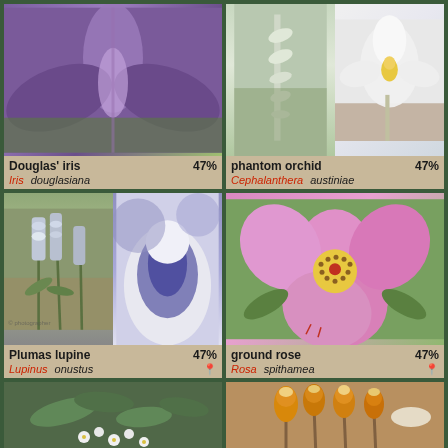[Figure (photo): Douglas' iris flower (purple/lavender) - Iris douglasiana, 47% match]
[Figure (photo): Phantom orchid - two photos: white spike plant and white orchid flower. Cephalanthera austiniae, 47% match]
[Figure (photo): Plumas lupine - two photos: lupine plant with white flowers and close-up of purple-white flower buds. Lupinus onustus, 47% match]
[Figure (photo): Ground rose - pink rose flower with yellow center. Rosa spithamea, 47% match]
[Figure (photo): Bottom left plant - green plant with white flowers, partially visible]
[Figure (photo): Bottom right plant - orange/yellow tubular flowers, partially visible]